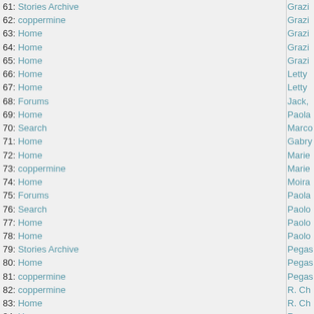61: Stories Archive
62: coppermine
63: Home
64: Home
65: Home
66: Home
67: Home
68: Forums
69: Home
70: Search
71: Home
72: Home
73: coppermine
74: Home
75: Forums
76: Search
77: Home
78: Home
79: Stories Archive
80: Home
81: coppermine
82: coppermine
83: Home
84: Home
85: coppermine
86: Home
87: Home
88: coppermine
89: Home
90: Stories Archive
91: News
92: coppermine
93: Stories Archive
94: Home
95: News
96: News
97: Home
98: Home
99: Forums
100: Home
101: Home